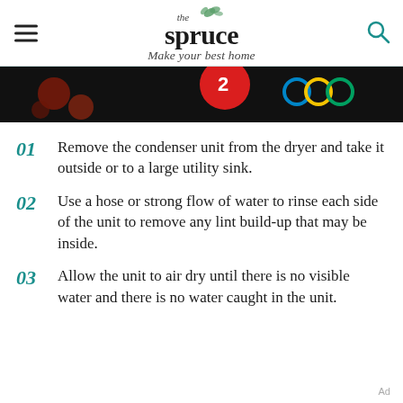the spruce — Make your best home
[Figure (photo): Partial view of a dark/black background advertisement image with colorful circles and shapes visible]
01 Remove the condenser unit from the dryer and take it outside or to a large utility sink.
02 Use a hose or strong flow of water to rinse each side of the unit to remove any lint build-up that may be inside.
03 Allow the unit to air dry until there is no visible water and there is no water caught in the unit.
Ad